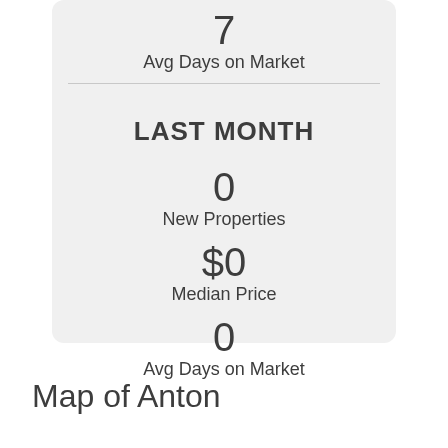7
Avg Days on Market
LAST MONTH
0
New Properties
$0
Median Price
0
Avg Days on Market
Map of Anton